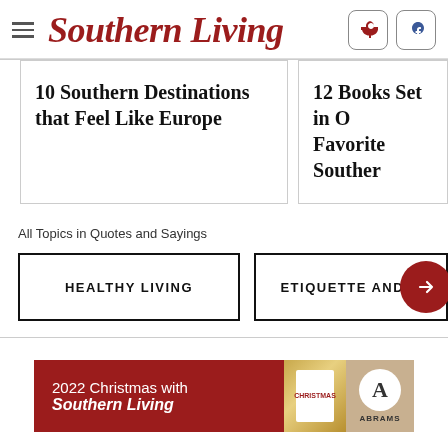Southern Living
10 Southern Destinations that Feel Like Europe
12 Books Set in Our Favorite Southern
All Topics in Quotes and Sayings
HEALTHY LIVING
ETIQUETTE AND M
[Figure (screenshot): 2022 Christmas with Southern Living advertisement banner with book cover and Abrams publisher logo]